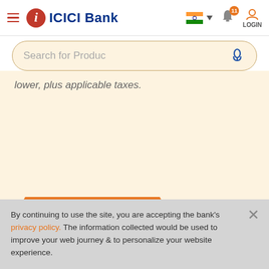ICICI Bank header with hamburger menu, logo, India flag, notifications (11), and LOGIN
[Figure (screenshot): Search bar with placeholder text 'Search for Produc' and microphone icon]
lower, plus applicable taxes.
[Figure (other): NEED ASSISTANCE button in orange with banner/ribbon shape]
By continuing to use the site, you are accepting the bank's privacy policy. The information collected would be used to improve your web journey & to personalize your website experience.